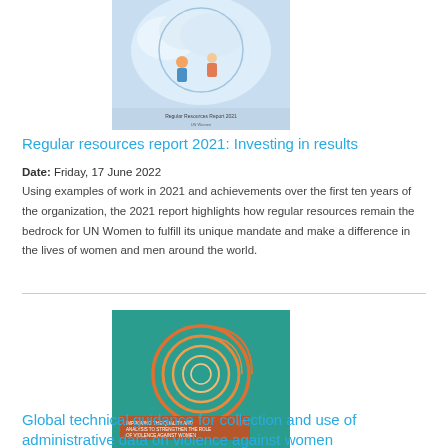[Figure (illustration): Book cover of 'Regular Resources Report 2021' with a light blue background and illustrated figures]
Regular resources report 2021: Investing in results
Date: Friday, 17 June 2022
Using examples of work in 2021 and achievements over the first ten years of the organization, the 2021 report highlights how regular resources remain the bedrock for UN Women to fulfill its unique mandate and make a difference in the lives of women and men around the world.
[Figure (illustration): Book cover with teal background and orange spiral design for 'Global technical guidance for collection and use of administrative data on violence against women']
Global technical guidance for collection and use of administrative data on violence against women